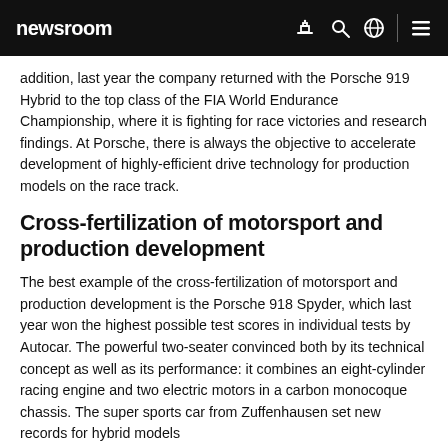newsroom
addition, last year the company returned with the Porsche 919 Hybrid to the top class of the FIA World Endurance Championship, where it is fighting for race victories and research findings. At Porsche, there is always the objective to accelerate development of highly-efficient drive technology for production models on the race track.
Cross-fertilization of motorsport and production development
The best example of the cross-fertilization of motorsport and production development is the Porsche 918 Spyder, which last year won the highest possible test scores in individual tests by Autocar. The powerful two-seater convinced both by its technical concept as well as its performance: it combines an eight-cylinder racing engine and two electric motors in a carbon monocoque chassis. The super sports car from Zuffenhausen set new records for hybrid models